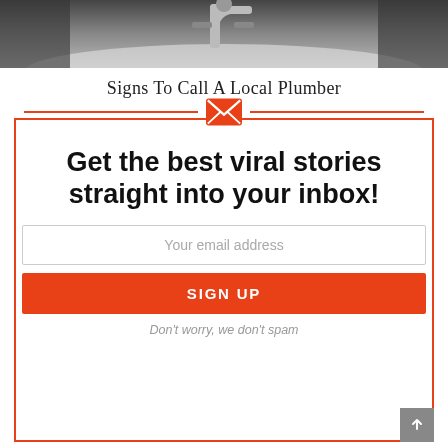[Figure (photo): Grayscale photo of a kitchen or bathroom faucet/sink area]
Signs To Call A Local Plumber
[Figure (infographic): Newsletter sign-up box with orange border, orange email envelope icon centered at top with orange horizontal rules on either side, bold headline text, email input field, orange SIGN UP button, and no-spam note]
Get the best viral stories straight into your inbox!
Your email address
SIGN UP
Don't worry, we don't spam